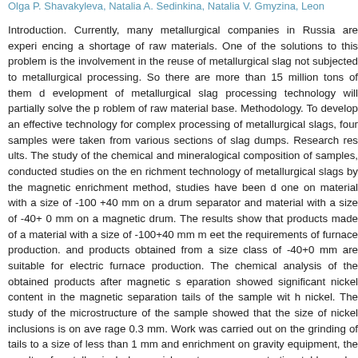Olga P. Shavakyleva, Natalia A. Sedinkina, Natalia V. Gmyzina, Leon
Introduction. Currently, many metallurgical companies in Russia are experiencing a shortage of raw materials. One of the solutions to this problem is the involvement in the reuse of metallurgical slags not subjected to metallurgical processing. So there are more than 15 million tons of them dumped. The development of metallurgical slag processing technology will partially solve the problem of raw material base. Methodology. To develop an effective technology for complex processing of metallurgical slags, four samples were taken from various sections of slag dumps. Research results. The study of the chemical and mineralogical composition of samples, conducted studies on the enrichment technology of metallurgical slags by the magnetic enrichment method, studies have been done on material with a size of -100 +40 mm on a drum separator and material with a size of -40+0 mm on a magnetic drum. The results show that products made of a material with a size of -100+40 mm meet the requirements of furnace production. and products obtained from a size class of -40+0 mm are suitable for electric furnace production. The chemical analysis of the obtained products after magnetic separation showed significant nickel content in the magnetic separation tails of the sample with nickel. The study of the microstructure of the sample showed that the size of nickel inclusions is on average 0.3 mm. Work was carried out on the grinding of tails to a size of less than 1 mm and enrichment on gravity equipment, the results of metallurgical slag enrichment on a concentration table and a centrifugal concentrator showed higher efficiency of slag separation on a centrifugal concentrator. Conclusions. Analysis of the metallurgical slags ofZlatoust steel Mill allows us to recommend a comprehensive technology. After enrichment the following products are obtained: magnetic product 1 with a mass fraction of iron 56.8% when 35.2%. magnetic product 2 with a mass fraction of iron 42.7% when extracting 12... a mass fraction of nickel 4.85% when extracting 67.9%.